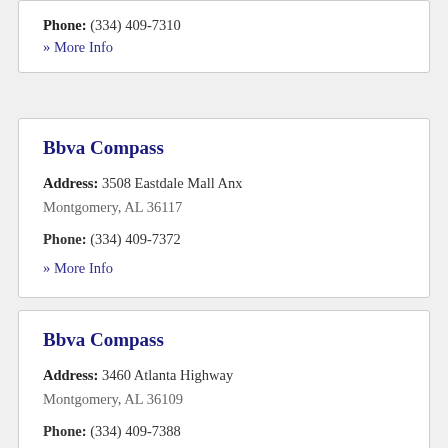Phone: (334) 409-7310
» More Info
Bbva Compass
Address: 3508 Eastdale Mall Anx
Montgomery, AL 36117
Phone: (334) 409-7372
» More Info
Bbva Compass
Address: 3460 Atlanta Highway
Montgomery, AL 36109
Phone: (334) 409-7388
» More Info